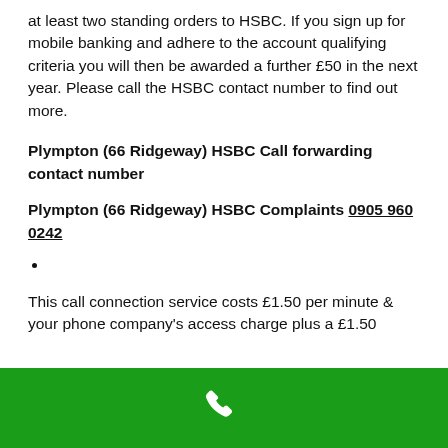at least two standing orders to HSBC. If you sign up for mobile banking and adhere to the account qualifying criteria you will then be awarded a further £50 in the next year. Please call the HSBC contact number to find out more.
Plympton (66 Ridgeway) HSBC Call forwarding contact number
Plympton (66 Ridgeway) HSBC Complaints 0905 960 0242
•
This call connection service costs £1.50 per minute & your phone company's access charge plus a £1.50
[Figure (other): Green footer bar with white phone handset icon]